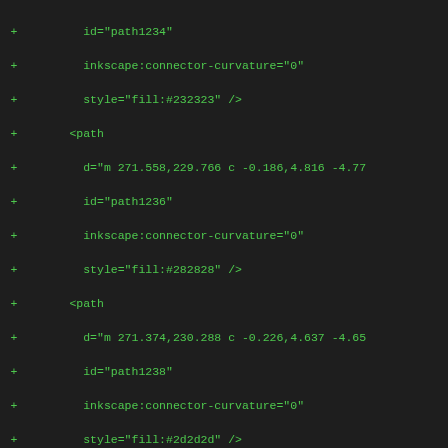Diff/code view showing SVG path element additions with inkscape attributes and fill styles